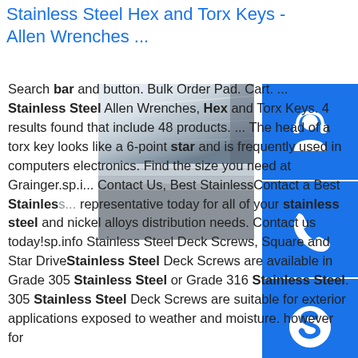Stainless Steel Hex and Torx Keys - Allen Wrenches ...
[Figure (photo): Stack of stainless steel sheets/plates shown from the side, with a shiny metallic surface.]
[Figure (infographic): Three blue icon buttons stacked vertically: headset/support icon, phone icon, and Skype icon.]
Search bar and button. Bulk Order Pad. Cart. ... Stainless Steel Allen Wrenches, Hex and Torx Keys. 4 results found that include 48 products. ... The head of a torx key looks like a 6-point star and is frequently used in computers electronics. Find the size you need at Grainger.sp.i... Contact Us, Best StainlessContact a Best Stainless... representative today for all of your stainless steel and nickel alloys distribution needs. Contact us today!sp.info Stainless Steel Deck Screws, Square and Star DriveStainless Steel Deck Screws are available in Grade 305 Stainless Steel or Grade 316 Stainless Steel. 305 Stainless Steel Deck Screws are suitable for exterior applications exposed to weather and moisture. however for